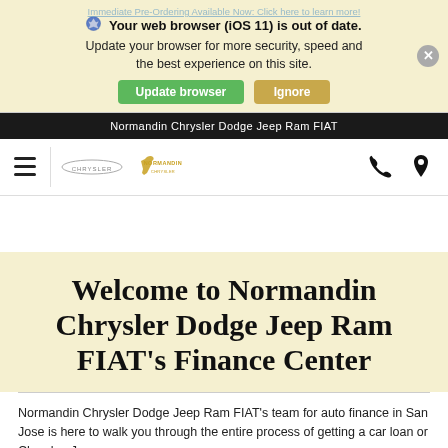[Figure (screenshot): Browser update notification banner with shield icon, warning text, Update browser and Ignore buttons, and close button, on a pale yellow background]
Normandin Chrysler Dodge Jeep Ram FIAT
[Figure (logo): Navigation bar with hamburger menu, Chrysler logo, Normandin logo with horse icon, phone icon and location pin icon]
Welcome to Normandin Chrysler Dodge Jeep Ram FIAT's Finance Center
Normandin Chrysler Dodge Jeep Ram FIAT's team for auto finance in San Jose is here to walk you through the entire process of getting a car loan or Chrysler, Jeep